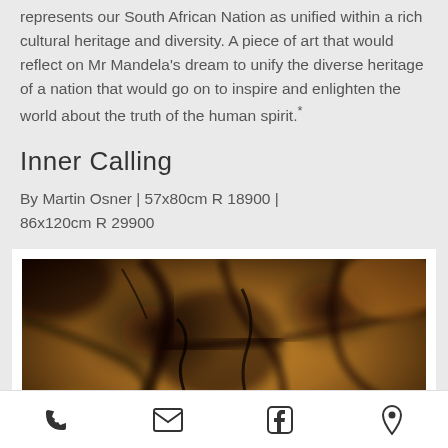represents our South African Nation as unified within a rich cultural heritage and diversity. A piece of art that would reflect on Mr Mandela's dream to unify the diverse heritage of a nation that would go on to inspire and enlighten the world about the truth of the human spirit.*
Inner Calling
By Martin Osner | 57x80cm R 18900 | 86x120cm R 29900
[Figure (photo): Abstract dark artwork with warm amber/brown tones, resembling a swirling or cracked texture, possibly a photograph of rock or fire-like forms. The image by Martin Osner titled 'Inner Calling'.]